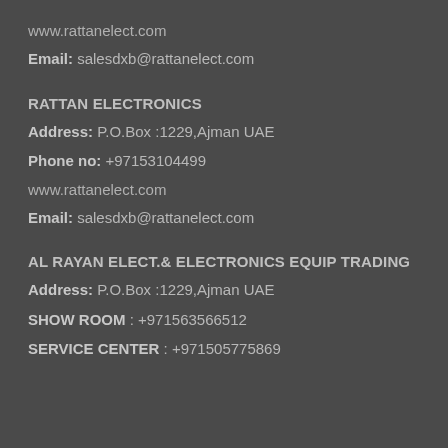www.rattanelect.com
Email: salesdxb@rattanelect.com
RATTAN ELECTRONICS
Address: P.O.Box :1229,Ajman UAE
Phone no: +97153104499
www.rattanelect.com
Email: salesdxb@rattanelect.com
AL RAYAN ELECT.& ELECTRONICS EQUIP TRADING
Address: P.O.Box :1229,Ajman UAE
SHOW ROOM : +971563566512
SERVICE CENTER : +971505775869